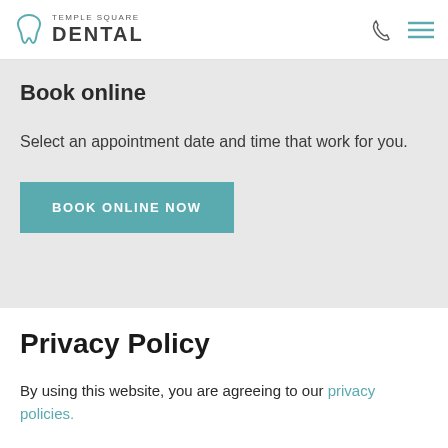Temple Square Dental
Book online
Select an appointment date and time that work for you.
BOOK ONLINE NOW
Privacy Policy
By using this website, you are agreeing to our privacy policies.
AGREE